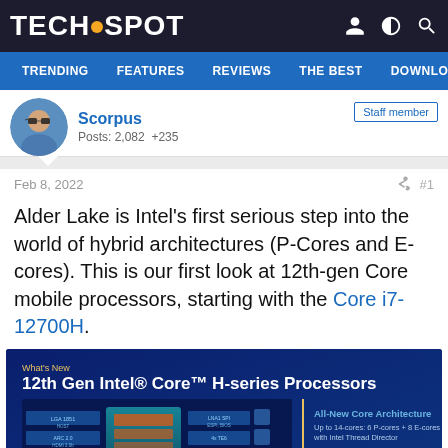TECHSPOT
TRENDING  FEATURES  REVIEWS  THE BEST  DOWNLOA
Scorpus
Posts: 2,082  +235
Staff member
Feb 8, 2022  #1
Alder Lake is Intel's first serious step into the world of hybrid architectures (P-Cores and E-cores). This is our first look at 12th-gen Core mobile processors, starting with the Core i7-12700H.
[Figure (infographic): 12th Gen Intel Core H-series Processors infographic showing chip architecture diagram with All-New Core Architecture (Up to 14-cores: 6 P-cores + 8 E-cores with Intel Thread Director) and Broad Memory Support (DDR5-4800, DDR4-3200, LPDDR5-5200, LPDDR4x-4267)]